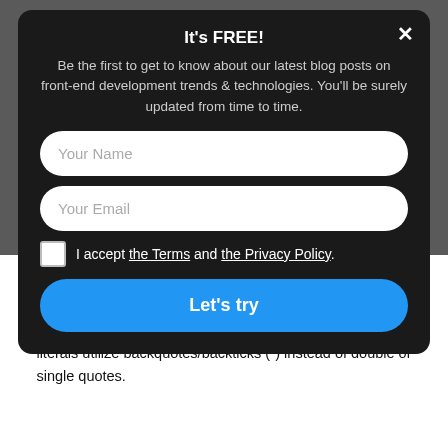It's FREE!
Be the first to get to know about our latest blog posts on front-end development trends & technologies. You'll be surely updated from time to time.
Your Name
Your Email
I accept the Terms and the Privacy Policy.
Let's try
declaration. Vue.js has a shorter syntax than other JavaScript functions, but it also d⚡ by Convertfulys.
To specify a string in the vue js framework guide, template literals utilize backquotes/backticks (“”) instead of double or single quotes.